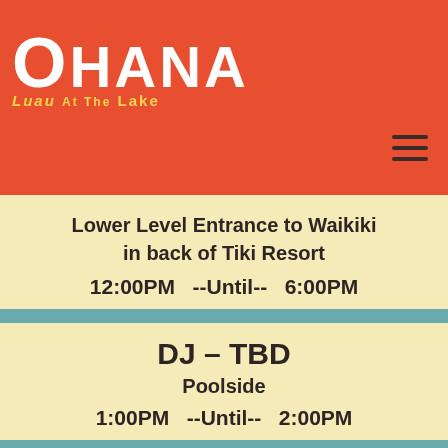OHANA Luau At The Lake
Lower Level Entrance to Waikiki in back of Tiki Resort
12:00PM --Until-- 6:00PM
DJ - TBD
Poolside
1:00PM --Until-- 2:00PM
Happy Hour
Paradise Lounge
1:00PM --Until-- 4:00PM